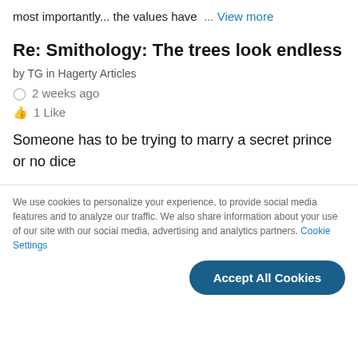most importantly... the values have  ... View more
Re: Smithology: The trees look endless
by TG in Hagerty Articles
🕐 2 weeks ago
👍 1 Like
Someone has to be trying to marry a secret prince or no dice
We use cookies to personalize your experience, to provide social media features and to analyze our traffic. We also share information about your use of our site with our social media, advertising and analytics partners. Cookie Settings
Accept All Cookies